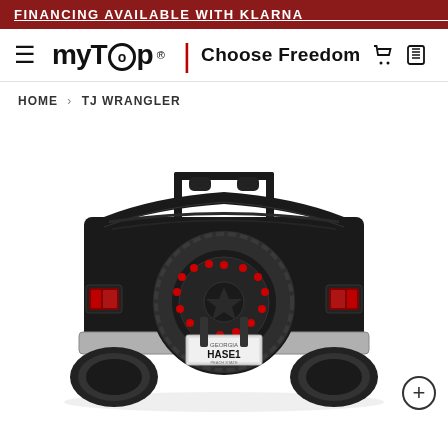FINANCING AVAILABLE WITH KLARNA   FIN...
[Figure (logo): myTop logo with tagline 'Choose Freedom' and navigation icons (cart, phone)]
HOME > TJ WRANGLER
[Figure (photo): Rear view of a black Jeep TJ Wrangler with the soft top folded down, showing a large spare tire with a black and red wheel, red tail lights, chrome rear bumper, and a Georgia license plate reading HASE1]